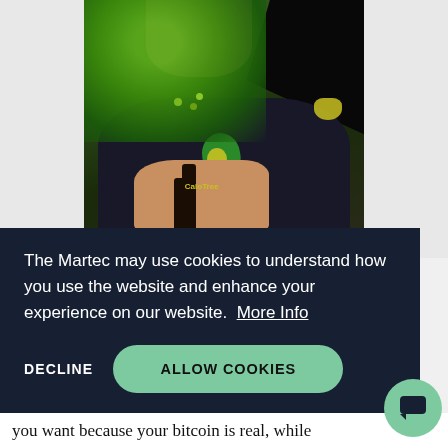[Figure (photo): A woman wearing a dark navy t-shirt with a green and yellow CaloTree logo, holding a dark bottle with small green plants/berries. She has long dark hair. The background shows a wooden crate or shelf.]
The Martec may use cookies to understand how you use the website and enhance your experience on our website.  More Info
DECLINE
ALLOW COOKIES
you want because your bitcoin is real, while